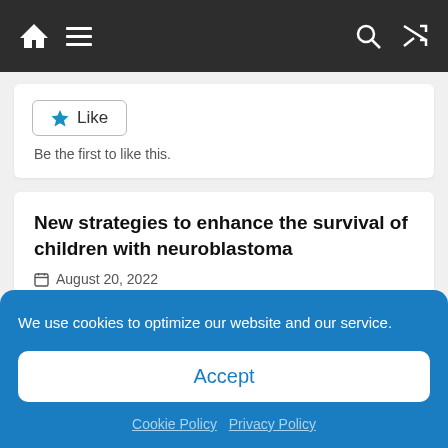Navigation bar with home, menu, search, and shuffle icons
[Figure (screenshot): Like button with star icon and 'Like' label, bordered box]
Be the first to like this.
New strategies to enhance the survival of children with neuroblastoma
August 20, 2022
How China’s strict Covid policies led to supply chain bottlenecks
We use cookies to optimize our website and our service.
Accept
Cookie Policy  Privacy Policy